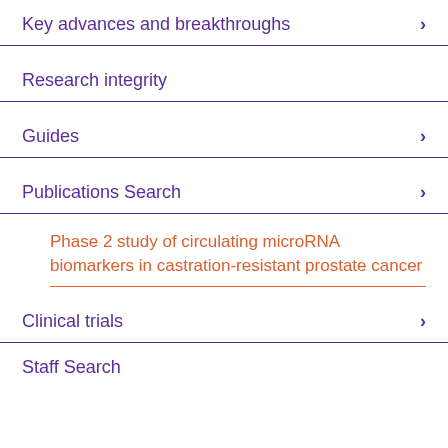Key advances and breakthroughs
Research integrity
Guides
Publications Search
Phase 2 study of circulating microRNA biomarkers in castration-resistant prostate cancer
Clinical trials
Staff Search